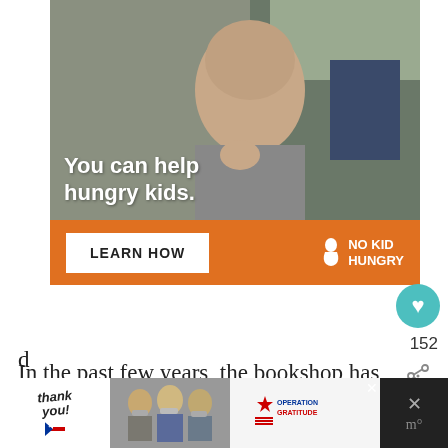[Figure (photo): Advertisement banner showing a young boy eating, with text 'You can help hungry kids.' over the photo, and an orange bar below with 'LEARN HOW' button and No Kid Hungry logo]
In the past few years, the bookshop has opened an adjacent Shakespeare Company café where you can get a
[Figure (photo): Bottom advertisement banner for Operation Gratitude showing 'thank you!' text with American flag, people with masks holding packages, and Operation Gratitude logo]